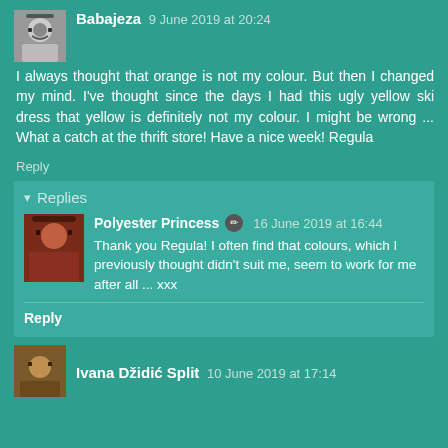Babajeza 9 June 2019 at 20:24
I always thought that orange is not my colour. But then I changed my mind. I've thought since the days I had this ugly yellow ski dress that yellow is definitely not my colour. I might be wrong ... What a catch at the thrift store! Have a nice week! Regula
Reply
Replies
Polyester Princess 16 June 2019 at 16:44
Thank you Regula! I often find that colours, which I previously thought didn't suit me, seem to work for me after all ... xxx
Reply
Ivana Džidić Split 10 June 2019 at 17:14